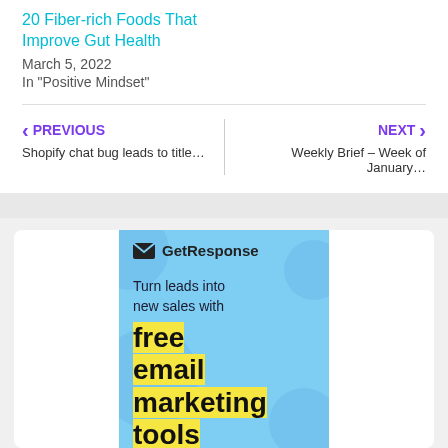20 Fiber-rich Foods That Improve Gut Health
March 5, 2022
In "Positive Mindset"
PREVIOUS
Shopify chat bug leads to title...
NEXT
Weekly Brief – Week of January...
[Figure (infographic): GetResponse advertisement banner with light blue background, envelope logo, and text 'Turn leads into new sales with free email marketing tools' with yellow highlights]